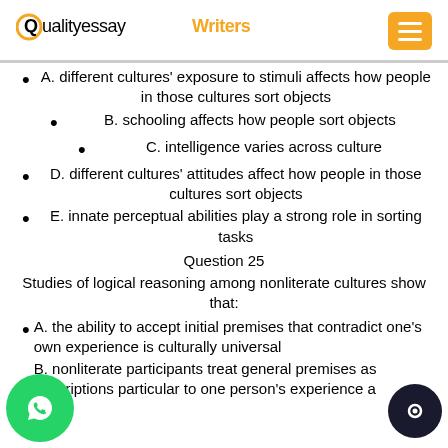QualityessayWriters [menu button]
A. different cultures' exposure to stimuli affects how people in those cultures sort objects
B. schooling affects how people sort objects
C. intelligence varies across culture
D. different cultures' attitudes affect how people in those cultures sort objects
E. innate perceptual abilities play a strong role in sorting tasks
Question 25
Studies of logical reasoning among nonliterate cultures show that:
A. the ability to accept initial premises that contradict one's own experience is culturally universal
B. nonliterate participants treat general premises as descriptions particular to one person's experience a…